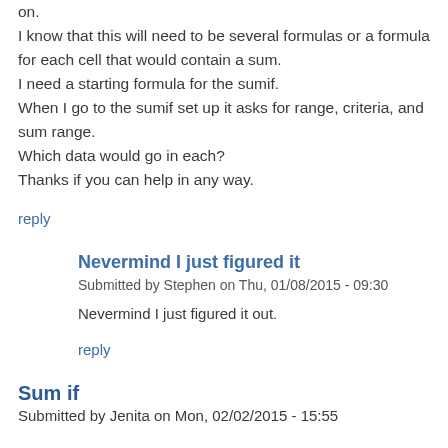on.
I know that this will need to be several formulas or a formula for each cell that would contain a sum.
I need a starting formula for the sumif.
When I go to the sumif set up it asks for range, criteria, and sum range.
Which data would go in each?
Thanks if you can help in any way.
reply
Nevermind I just figured it
Submitted by Stephen on Thu, 01/08/2015 - 09:30
Nevermind I just figured it out.
reply
Sum if
Submitted by Jenita on Mon, 02/02/2015 - 15:55